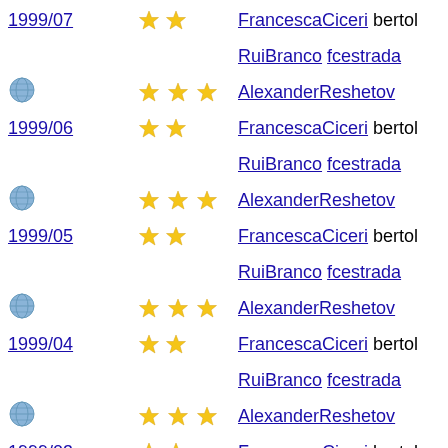1999/07 ★★ FrancescaCiceri bertol
RuiBranco fcestrada
(globe) ★★★ AlexanderReshetov
1999/06 ★★ FrancescaCiceri bertol
RuiBranco fcestrada
(globe) ★★★ AlexanderReshetov
1999/05 ★★ FrancescaCiceri bertol
RuiBranco fcestrada
(globe) ★★★ AlexanderReshetov
1999/04 ★★ FrancescaCiceri bertol
RuiBranco fcestrada
(globe) ★★★ AlexanderReshetov
1999/03 ★★ FrancescaCiceri bertol
RuiBranco fcestrada
(globe) ★★★ AlexanderReshetov
1999/02 ★★ FrancescaCiceri bertol
RuiBranco fcestrada
(globe) ★★★ AlexanderReshetov
1999/01 ★★ FrancescaCiceri bertol